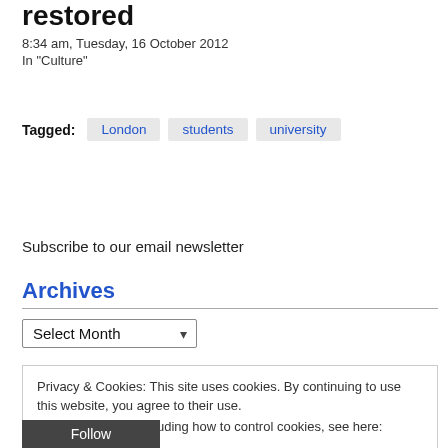restored
8:34 am, Tuesday, 16 October 2012
In "Culture"
Tagged: London students university
Subscribe to our email newsletter
Archives
Select Month
Privacy & Cookies: This site uses cookies. By continuing to use this website, you agree to their use. To find out more, including how to control cookies, see here: Cookie Policy
Close and accept
Follow